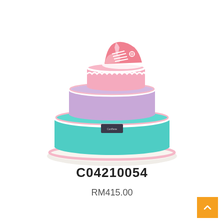[Figure (photo): A three-tiered fondant cake with a teal bottom tier, lavender middle tier, and pink top tier, decorated with a fondant sneaker/shoe on top and white ruffled borders between tiers, placed on a white cake board.]
C04210054
RM415.00